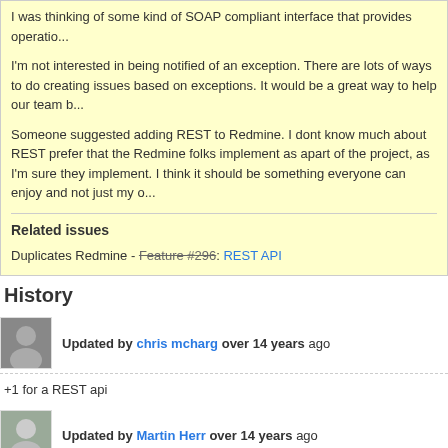I was thinking of some kind of SOAP compliant interface that provides operatio...
I'm not interested in being notified of an exception. There are lots of ways to do creating issues based on exceptions. It would be a great way to help our team b...
Someone suggested adding REST to Redmine. I dont know much about REST prefer that the Redmine folks implement as apart of the project, as I'm sure they implement. I think it should be something everyone can enjoy and not just my o...
Related issues
Duplicates Redmine - Feature #296: REST API
History
Updated by chris mcharg over 14 years ago
+1 for a REST api
Updated by Martin Herr over 14 years ago
+1 for REST api :)
Updated by satoko hibi over 14 years ago
+1 for REST api.
Should meet the needs of the times.
Updated by Thomas Lecavelier over 14 years ago